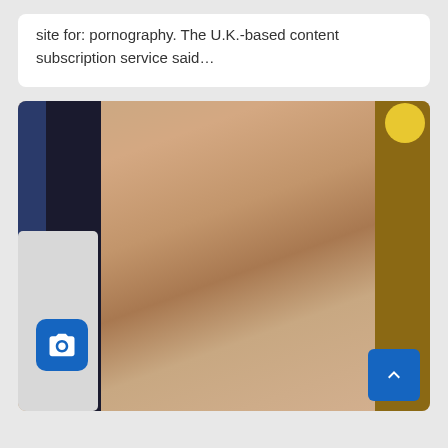site for: pornography. The U.K.-based content subscription service said…
[Figure (photo): A shirtless muscular man with tattoos on his chest and torso standing indoors. A blue camera icon overlay is visible in the bottom left, and a blue scroll-to-top button is in the bottom right.]